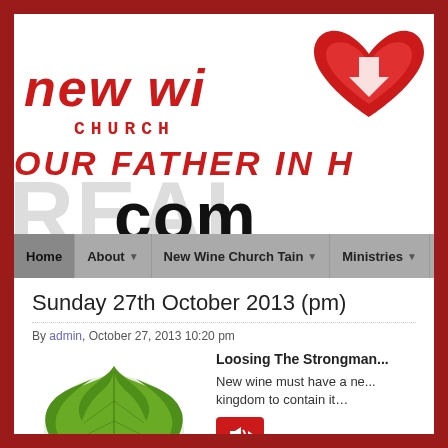[Figure (logo): New Wine Church logo with red stylized text 'new wi...' and 'CHURCH' below, with a red heart SVG icon at top center]
[Figure (illustration): Banner with 'OUR FATHER IN H...' in red italic uppercase, large light grey 'REAL' behind bold black lowercase 'com...']
Home | About | New Wine Church Tain | Ministries | Healing
Sunday 27th October 2013 (pm)
By admin, October 27, 2013 10:20 pm
[Figure (photo): Photo of a large green fig leaf on white background]
Loosing The Strongman...
New wine must have a ne... kingdom to contain it…
[Figure (other): Red audio player button with speaker/play icons]